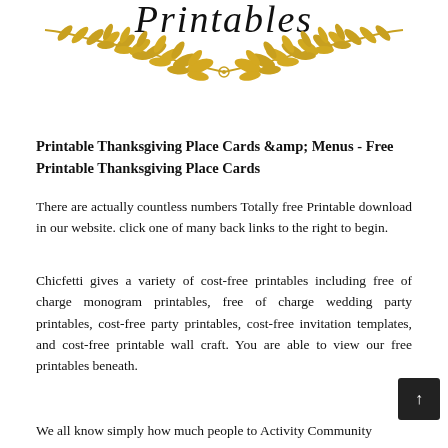[Figure (illustration): Decorative script text 'Printables' at top with golden laurel wreath / olive branch illustration beneath it, symmetrical branches with golden leaves meeting in the center.]
Printable Thanksgiving Place Cards &amp;amp; Menus - Free Printable Thanksgiving Place Cards
There are actually countless numbers Totally free Printable download in our website. click one of many back links to the right to begin.
Chicfetti gives a variety of cost-free printables including free of charge monogram printables, free of charge wedding party printables, cost-free party printables, cost-free invitation templates, and cost-free printable wall craft. You are able to view our free printables beneath.
We all know simply how much people to Activity Community